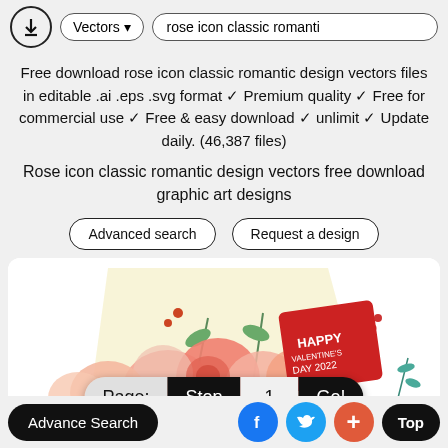Vectors ▾  rose icon classic romanti
Free download rose icon classic romantic design vectors files in editable .ai .eps .svg format ✓ Premium quality ✓ Free for commercial use ✓ Free & easy download ✓ unlimit ✓ Update daily. (46,387 files)
Rose icon classic romantic design vectors free download graphic art designs
[Figure (screenshot): Two pill-shaped buttons: 'Advanced search' and 'Request a design']
[Figure (illustration): Valentine's Day themed floral illustration with roses and greenery, featuring a red card that says HAPPY VALENTINE'S DAY 2022]
[Figure (screenshot): Pagination bar showing: Page: | Stop | 1 | Go!]
Advance Search   [Facebook] [Twitter] [+] Top